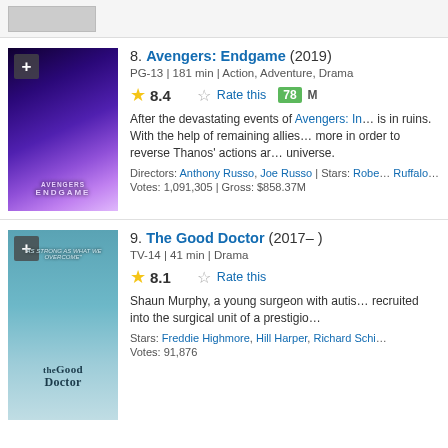[Figure (screenshot): Top stub showing a previous list entry with a small movie poster thumbnail, partially visible]
8. Avengers: Endgame (2019)
PG-13 | 181 min | Action, Adventure, Drama
Rating: 8.4 | Rate this | Metascore: 78
After the devastating events of Avengers: I... is in ruins. With the help of remaining allies... more in order to reverse Thanos' actions a... universe.
Directors: Anthony Russo, Joe Russo | Stars: Robe... Ruffalo, Chris Hemsworth
Votes: 1,091,305 | Gross: $858.37M
9. The Good Doctor (2017– )
TV-14 | 41 min | Drama
Rating: 8.1 | Rate this
Shaun Murphy, a young surgeon with autis... recruited into the surgical unit of a prestigio...
Stars: Freddie Highmore, Hill Harper, Richard Schi...
Votes: 91,876